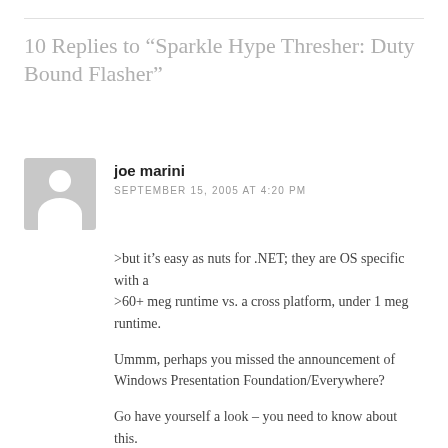10 Replies to “Sparkle Hype Thresher: Duty Bound Flasher”
joe marini
SEPTEMBER 15, 2005 AT 4:20 PM
>but it’s easy as nuts for .NET; they are OS specific with a
>60+ meg runtime vs. a cross platform, under 1 meg runtime.
Ummm, perhaps you missed the announcement of Windows Presentation Foundation/Everywhere?
Go have yourself a look – you need to know about this.